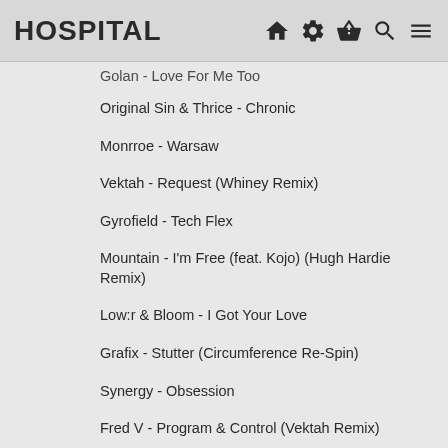HOSPITAL
Golan - Love For Me Too
Original Sin & Thrice - Chronic
Monrroe - Warsaw
Vektah - Request (Whiney Remix)
Gyrofield - Tech Flex
Mountain - I'm Free (feat. Kojo) (Hugh Hardie Remix)
Low:r & Bloom - I Got Your Love
Grafix - Stutter (Circumference Re-Spin)
Synergy - Obsession
Fred V - Program & Control (Vektah Remix)
Lenzman - String City
In:Most & Etherwood - Bloodstream
Degs - Unwritten